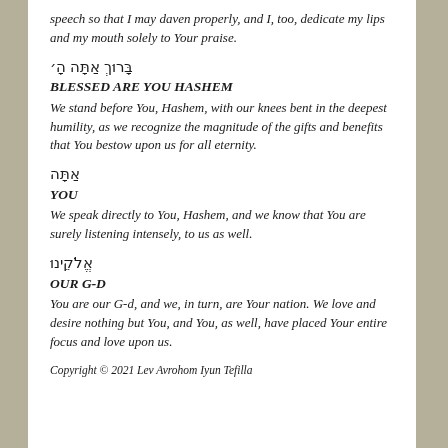speech so that I may daven properly, and I, too, dedicate my lips and my mouth solely to Your praise.
בָּרוּךְ אַתָּה הָ'
BLESSED ARE YOU HASHEM
We stand before You, Hashem, with our knees bent in the deepest humility, as we recognize the magnitude of the gifts and benefits that You bestow upon us for all eternity.
אַתָּה
YOU
We speak directly to You, Hashem, and we know that You are surely listening intensely, to us as well.
אֱלֹקֵינוּ
OUR G-D
You are our G-d, and we, in turn, are Your nation. We love and desire nothing but You, and You, as well, have placed Your entire focus and love upon us.
Copyright © 2021 Lev Avrohom Iyun Tefilla